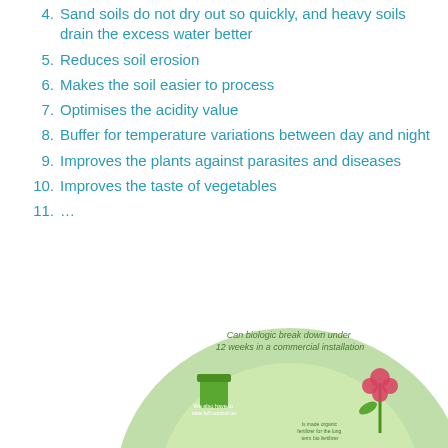4. Sand soils do not dry out so quickly, and heavy soils drain the excess water better
5. Reduces soil erosion
6. Makes the soil easier to process
7. Optimises the acidity value
8. Buffer for temperature variations between day and night
9. Improves the plants against parasites and diseases
10. Improves the taste of vegetables
11. …
[Figure (infographic): Circular infographic diagram about composting/biodegradation with green circle, plant imagery, and text including 'Can biologic break down under 12 weeks in a commercial installation']